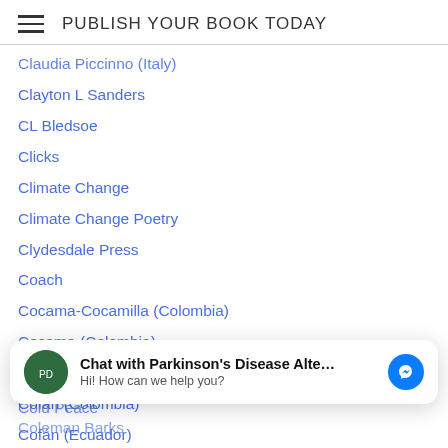PUBLISH YOUR BOOK TODAY
Claudia Piccinno (Italy)
Clayton L Sanders
CL Bledsoe
Clicks
Climate Change
Climate Change Poetry
Clydesdale Press
Coach
Cocama-Cocamilla (Colombia)
Cocama (Colombia)
Cochabamba Quechua (Bolivia)
Cofán (Colombia)
Cofán (Ecuador)
Cognitive
[Figure (other): Chat widget popup: avatar of Parkinson's Disease Alte book cover, bold text 'Chat with Parkinson's Disease Alte...' with subtext 'Hi! How can we help you?' and blue Messenger icon]
Cold Peace
Coleman Barks